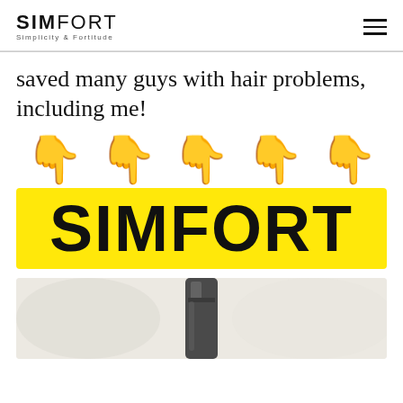SIMFORT — Simplicity & Fortitude
saved many guys with hair problems, including me!
[Figure (illustration): Five pointing-down hand emoji arranged in a row]
[Figure (logo): SIMFORT text on bright yellow background banner]
[Figure (photo): Partial product photo showing a dark bottle against a light background]